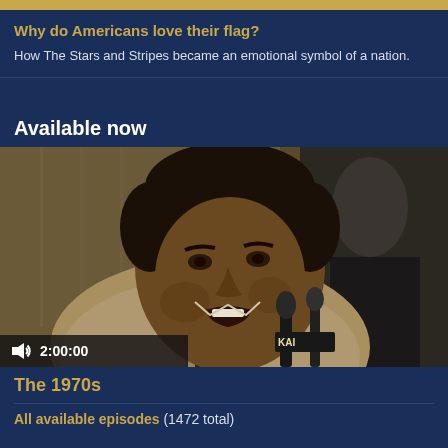Why do Americans love their flag?
How The Stars and Stripes became an emotional symbol of a nation.
Available now
[Figure (photo): Black and white photograph of a man speaking at a press conference with microphones in front of him, wearing a suit. Another person is partially visible in the background.]
2:00:00
The 1970s
All available episodes (1472 total)